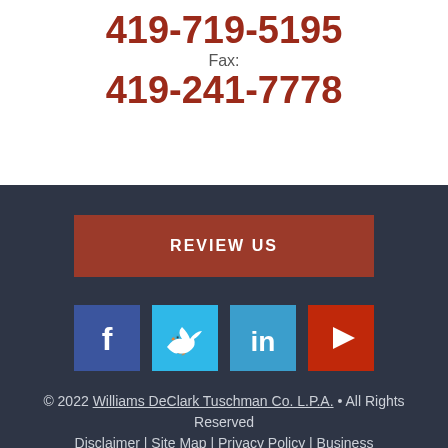419-719-5195
Fax:
419-241-7778
REVIEW US
[Figure (infographic): Social media icons: Facebook (blue), Twitter (light blue), LinkedIn (blue), YouTube (red)]
© 2022 Williams DeClark Tuschman Co. L.P.A. • All Rights Reserved
Disclaimer | Site Map | Privacy Policy | Business